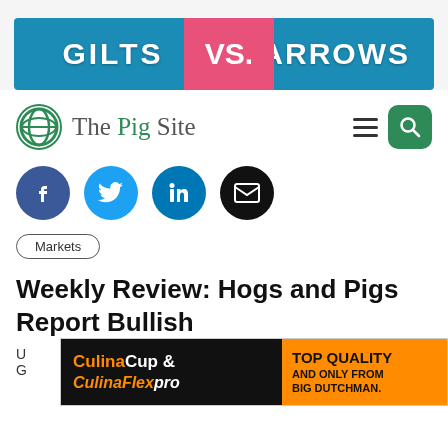[Figure (infographic): Banner advertisement: GILTS VS. BARROWS — blue background with pink divider for VS., pig imagery]
The Pig Site — navigation bar with hamburger menu and search button
[Figure (infographic): Social media share buttons: Facebook (f), Twitter (bird), LinkedIn (in), Email (envelope)]
Markets
Weekly Review: Hogs and Pigs Report Bullish
U... G...
[Figure (infographic): Advertisement: CulinaCup & CulinaFlexpro — TOP QUALITY AND ONLY FROM BIG DUTCHMAN.]
3 October 2009   4 minute read